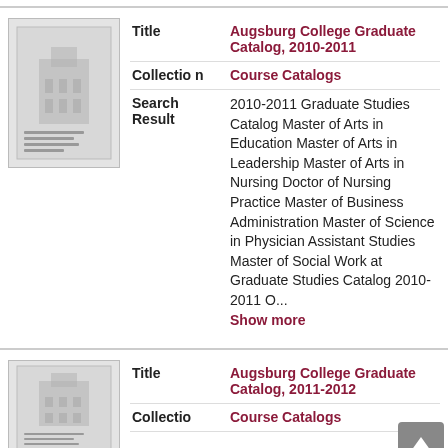[Figure (illustration): Thumbnail of Augsburg College Graduate Catalog 2010-2011 cover]
| Title | Augsburg College Graduate Catalog, 2010-2011 |
| Collection | Course Catalogs |
| Search Result | 2010-2011 Graduate Studies Catalog Master of Arts in Education Master of Arts in Leadership Master of Arts in Nursing Doctor of Nursing Practice Master of Business Administration Master of Science in Physician Assistant Studies Master of Social Work at Graduate Studies Catalog 2010-2011 O... Show more |
[Figure (illustration): Thumbnail of Augsburg College Graduate Catalog 2011-2012 cover]
| Title | Augsburg College Graduate Catalog, 2011-2012 |
| Collection | Course Catalogs |